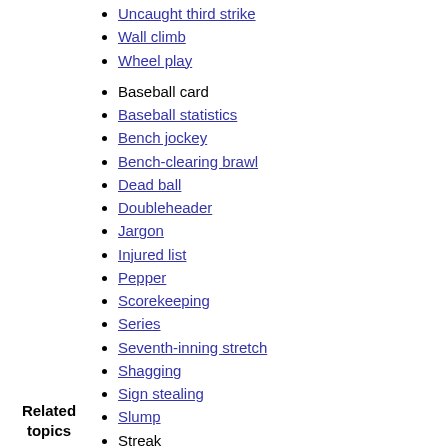Uncaught third strike
Wall climb
Wheel play
Baseball card
Baseball statistics
Bench jockey
Bench-clearing brawl
Dead ball
Doubleheader
Jargon
Injured list
Pepper
Scorekeeping
Series
Seventh-inning stretch
Shagging
Sign stealing
Slump
Streak
losing
winning
Variations of baseball
Category